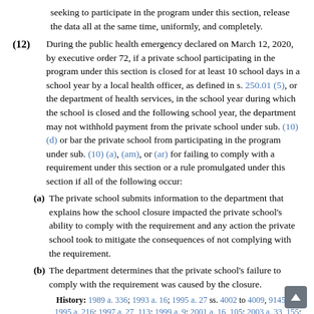seeking to participate in the program under this section, release the data all at the same time, uniformly, and completely.
(12) During the public health emergency declared on March 12, 2020, by executive order 72, if a private school participating in the program under this section is closed for at least 10 school days in a school year by a local health officer, as defined in s. 250.01 (5), or the department of health services, in the school year during which the school is closed and the following school year, the department may not withhold payment from the private school under sub. (10) (d) or bar the private school from participating in the program under sub. (10) (a), (am), or (ar) for failing to comply with a requirement under this section or a rule promulgated under this section if all of the following occur:
(a) The private school submits information to the department that explains how the school closure impacted the private school's ability to comply with the requirement and any action the private school took to mitigate the consequences of not complying with the requirement.
(b) The department determines that the private school's failure to comply with the requirement was caused by the closure.
History: 1989 a. 336; 1993 a. 16; 1995 a. 27 ss. 4002 to 4009, 9145 (1); 1995 a. 216; 1997 a. 27, 113; 1999 a. 9; 2001 a. 16, 105; 2003 a. 33, 155; 2005 a. 25, 125; 2009 a. 28, 96; 2011 a. 32, 47; 2013 a. 8, 20, 165; 2013 a. 166 s. 77; 2013 a. 237, 256; 2015 a. 55, 195;